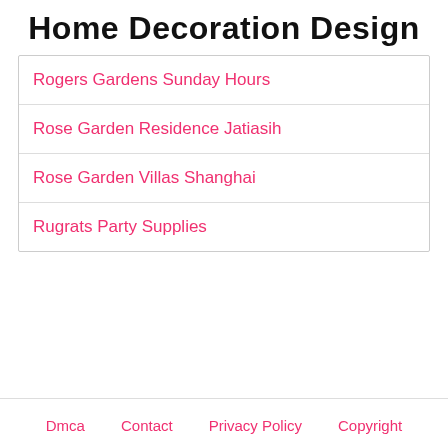Home Decoration Design
Rogers Gardens Sunday Hours
Rose Garden Residence Jatiasih
Rose Garden Villas Shanghai
Rugrats Party Supplies
Dmca   Contact   Privacy Policy   Copyright